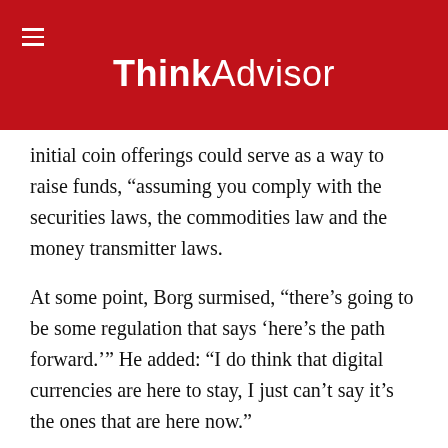ThinkAdvisor
initial coin offerings could serve as a way to raise funds, “assuming you comply with the securities laws, the commodities law and the money transmitter laws.
At some point, Borg surmised, “there’s going to be some regulation that says ‘here’s the path forward.’” He added: “I do think that digital currencies are here to stay, I just can’t say it’s the ones that are here now.”
Fintech as a disruptor is really “an evolution,” he said, stating that state securities regulators will be performing “basically the same jobs we’ve done